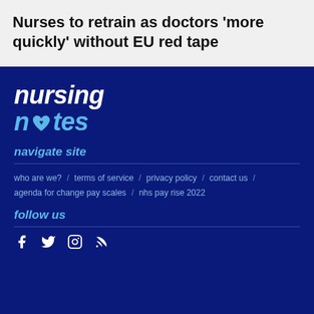Nurses to retrain as doctors ‘more quickly’ without EU red tape
[Figure (logo): Nursing Notes logo — 'nursing' in white italic bold and 'n♥tes' in light blue italic bold on dark navy background]
navigate site
who are we? / terms of service / privacy policy / contact us / agenda for change pay scales / nhs pay rise 2022
follow us
[Figure (infographic): Social media icons: Facebook, Twitter, Instagram, RSS feed — in white on dark navy background]